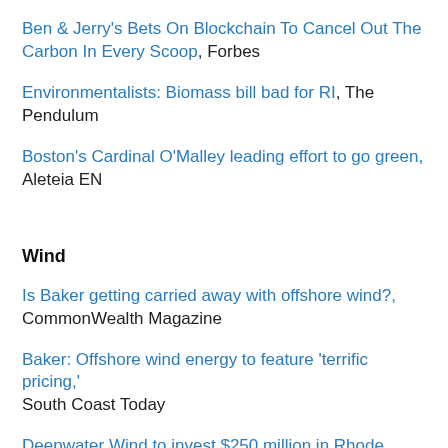Ben & Jerry's Bets On Blockchain To Cancel Out The Carbon In Every Scoop, Forbes
Environmentalists: Biomass bill bad for RI, The Pendulum
Boston's Cardinal O'Malley leading effort to go green, Aleteia EN
Wind
Is Baker getting carried away with offshore wind?, CommonWealth Magazine
Baker: Offshore wind energy to feature 'terrific pricing,' South Coast Today
Deepwater Wind to invest $250 million in Rhode Island to